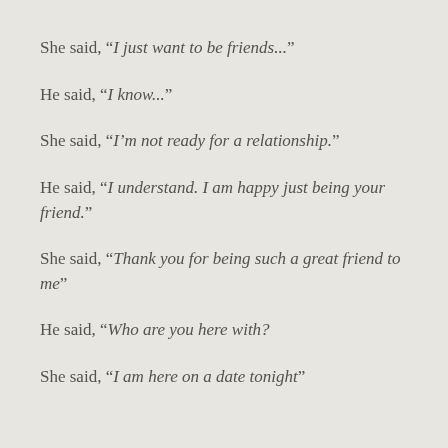She said, “I just want to be friends…”
He said, “I know…”
She said, “I’m not ready for a relationship.”
He said, “I understand. I am happy just being your friend.”
She said, “Thank you for being such a great friend to me”
He said, “Who are you here with?
She said, “I am here on a date tonight”